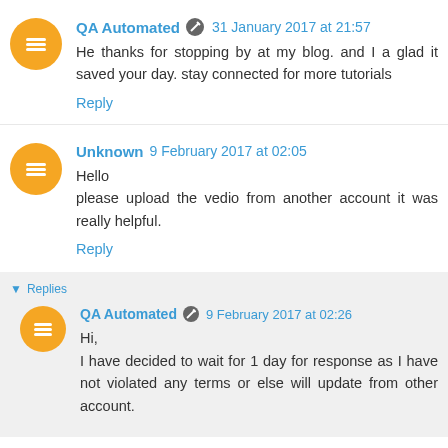QA Automated  31 January 2017 at 21:57
He thanks for stopping by at my blog. and I a glad it saved your day. stay connected for more tutorials
Reply
Unknown  9 February 2017 at 02:05
Hello
please upload the vedio from another account it was really helpful.
Reply
Replies
QA Automated  9 February 2017 at 02:26
Hi,
I have decided to wait for 1 day for response as I have not violated any terms or else will update from other account.